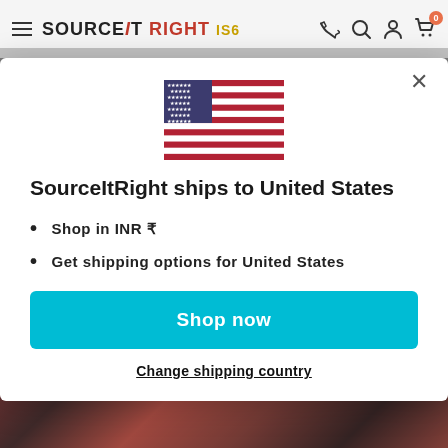SourceItRight IS6 — navigation header with hamburger menu, logo, phone, search, account, and cart icons
[Figure (screenshot): Modal dialog showing US flag with shipping information for SourceItRight]
SourceItRight ships to United States
Shop in INR ₹
Get shipping options for United States
Shop now
Change shipping country